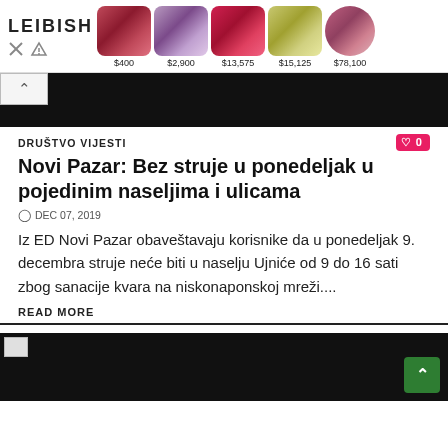[Figure (infographic): LEIBISH jewelry ad banner showing 5 gemstones with prices: $400, $2,900, $13,575, $15,125, $78,100]
[Figure (photo): Black image at top of article with collapse/chevron button]
DRUŠTVO VIJESTI
Novi Pazar: Bez struje u ponedeljak u pojedinim naseljima i ulicama
DEC 07, 2019
Iz ED Novi Pazar obaveštavaju korisnike da u ponedeljak 9. decembra struje neće biti u naselju Ujniće od 9 do 16 sati zbog sanacije kvara na niskonaponskoj mreži....
READ MORE
[Figure (photo): Black image at bottom of page with small broken image icon top-left and green scroll-to-top button bottom-right]